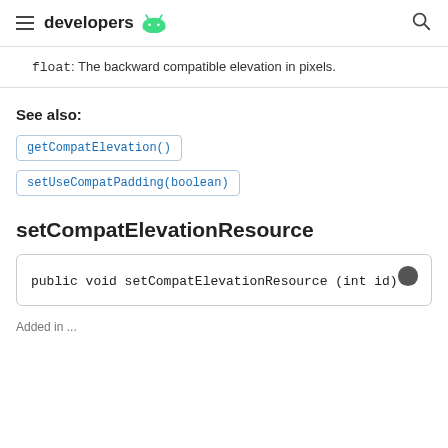developers
float: The backward compatible elevation in pixels.
See also:
getCompatElevation()
setUseCompatPadding(boolean)
setCompatElevationResource
public void setCompatElevationResource (int id)
Added in ...